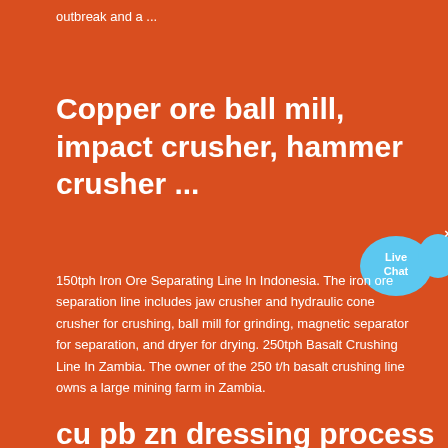outbreak and a ...
Copper ore ball mill, impact crusher, hammer crusher ...
[Figure (other): Live Chat button with speech bubble icon]
150tph Iron Ore Separating Line In Indonesia. The iron ore separation line includes jaw crusher and hydraulic cone crusher for crushing, ball mill for grinding, magnetic separator for separation, and dryer for drying. 250tph Basalt Crushing Line In Zambia. The owner of the 250 t/h basalt crushing line owns a large mining farm in Zambia.
cu pb zn dressing process